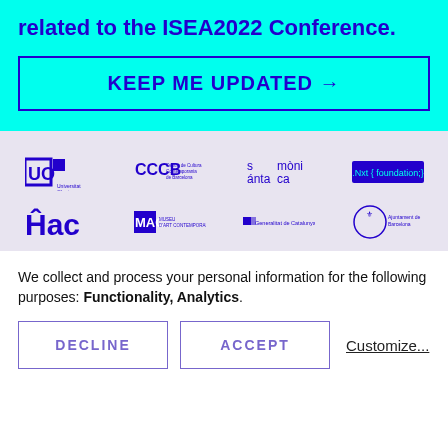related to the ISEA2022 Conference.
KEEP ME UPDATED →
[Figure (logo): Row of sponsor/partner logos: UOC Universitat Oberta de Catalunya, CCCB Centre de Cultura Contemporania de Barcelona, Santa Mònica, .Nxt foundation]
[Figure (logo): Second row of logos: Hac, MAC Museu d'Art Contemporani, Generalitat de Catalunya, Ajuntament de Barcelona]
We collect and process your personal information for the following purposes: Functionality, Analytics.
DECLINE
ACCEPT
Customize...